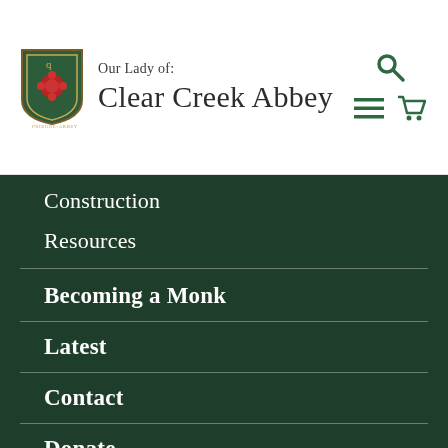Our Lady of: Clear Creek Abbey
Construction
Resources
Becoming a Monk
Latest
Contact
Donate